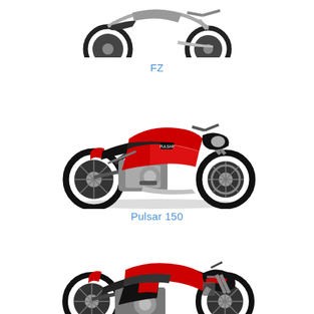[Figure (photo): Partial top view of a motorcycle (FZ style) - silver/gray and black, showing top half only, cropped at top of page]
FZ
[Figure (photo): Bajaj Pulsar 150 motorcycle, red and black color, full side view facing right]
Pulsar 150
[Figure (photo): Bajaj Pulsar 200 NS or similar motorcycle, red and black color, full side view facing right, partially shown at bottom]